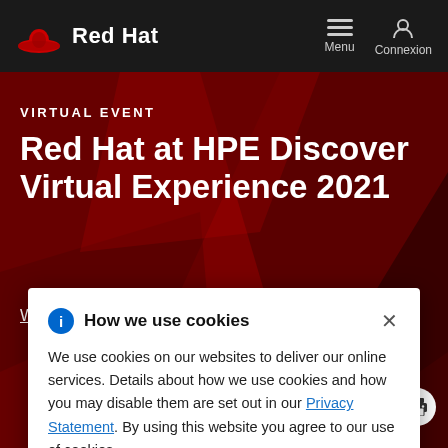Red Hat | Menu | Connexion
VIRTUAL EVENT
Red Hat at HPE Discover Virtual Experience 2021
W[atch on demand]
How we use cookies

We use cookies on our websites to deliver our online services. Details about how we use cookies and how you may disable them are set out in our Privacy Statement. By using this website you agree to our use of cookies.